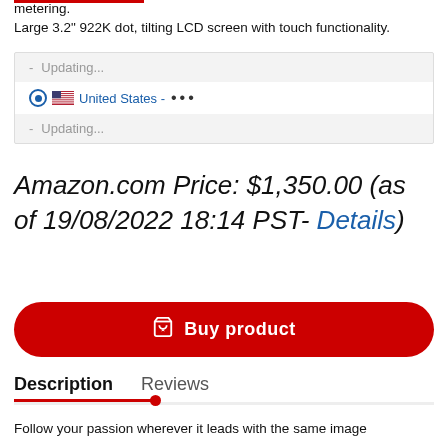metering.
Large 3.2" 922K dot, tilting LCD screen with touch functionality.
- Updating...
🔘 🇺🇸 United States - •••
- Updating...
Amazon.com Price: $1,350.00 (as of 19/08/2022 18:14 PST- Details)
Buy product
Description   Reviews
Follow your passion wherever it leads with the same image